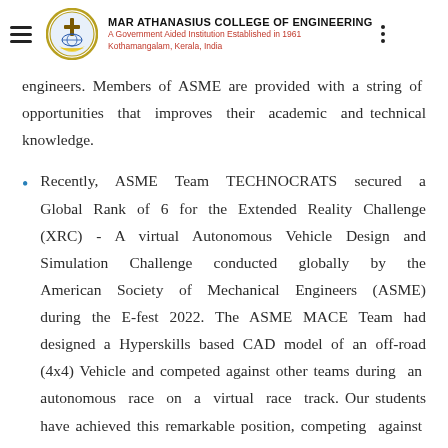MAR ATHANASIUS COLLEGE OF ENGINEERING
A Government Aided Institution Established in 1961
Kothamangalam, Kerala, India
engineers. Members of ASME are provided with a string of opportunities that improves their academic and technical knowledge.
Recently, ASME Team TECHNOCRATS secured a Global Rank of 6 for the Extended Reality Challenge (XRC) - A virtual Autonomous Vehicle Design and Simulation Challenge conducted globally by the American Society of Mechanical Engineers (ASME) during the E-fest 2022. The ASME MACE Team had designed a Hyperskills based CAD model of an off-road (4x4) Vehicle and competed against other teams during an autonomous race on a virtual race track. Our students have achieved this remarkable position, competing against world-class Universities over